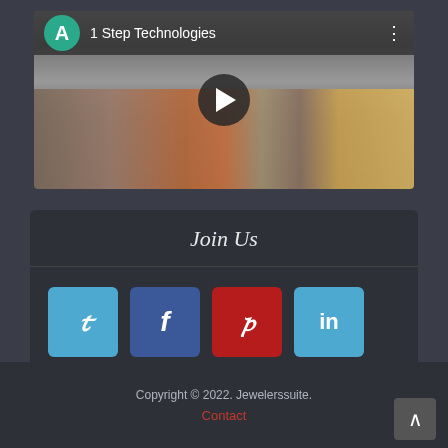[Figure (screenshot): YouTube-style video player showing '1 Step Technologies' with a teal avatar circle with letter A, a play button overlay, and a blurred office/classroom scene thumbnail]
Join Us
[Figure (infographic): Four social media buttons in a row: Twitter (light blue), Facebook (dark blue), Pinterest (red), LinkedIn (light blue), each with their respective icons]
Copyright © 2022. Jewelerssuite.
Contact